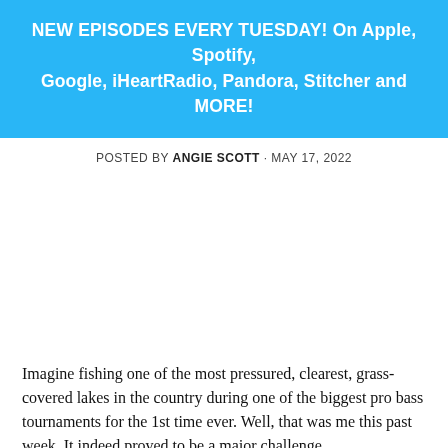NEW EPISODES EVERY TUESDAY! On Apple, Spotify, Google, iHeartRadio, Pandora, Stitcher and MORE!
POSTED BY ANGIE SCOTT · MAY 17, 2022
[Figure (other): Empty white space / image placeholder area]
Imagine fishing one of the most pressured, clearest, grass-covered lakes in the country during one of the biggest pro bass tournaments for the 1st time ever. Well, that was me this past week. It indeed proved to be a major challenge